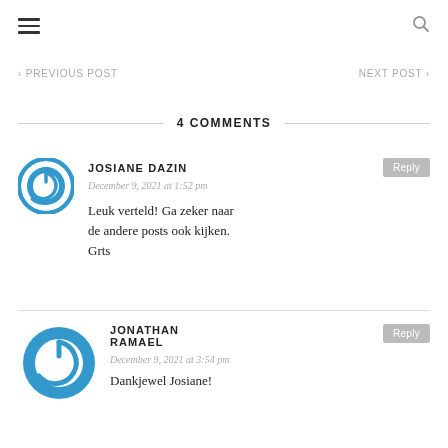☰  🔍
‹ PREVIOUS POST    NEXT POST ›
4 COMMENTS
JOSIANE DAZIN
December 9, 2021 at 1:52 pm
Leuk verteld! Ga zeker naar de andere posts ook kijken. Grts
JONATHAN RAMAEL
December 9, 2021 at 3:54 pm
Dankjewel Josiane!